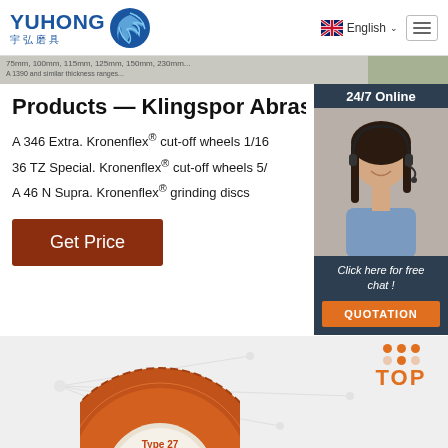YUHONG 宇弘磨具 — English navigation header with hamburger menu
[Figure (screenshot): Banner strip with small product text and food/background image partial]
Products — Klingspor Abrasive T
A 346 Extra. Kronenflex® cut-off wheels 1/16
36 TZ Special. Kronenflex® cut-off wheels 5/
A 46 N Supra. Kronenflex® grinding discs
[Figure (photo): Chat widget with agent photo, 24/7 Online label, 'Click here for free chat!' text and QUOTATION orange button]
Get Price
[Figure (illustration): TOP button with orange dots and orange text at bottom right]
[Figure (photo): Partial grinding disc with Type 27 Max Flex label at bottom]